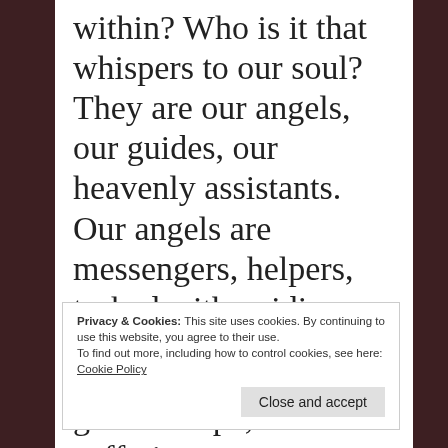within? Who is it that whispers to our soul? They are our angels, our guides, our heavenly assistants. Our angels are messengers, helpers, tasked with guiding us through our human lives. They are loving and want only the highest good for all
Privacy & Cookies: This site uses cookies. By continuing to use this website, you agree to their use.
To find out more, including how to control cookies, see here:
Cookie Policy
Close and accept
give us hope, ease our suffering,